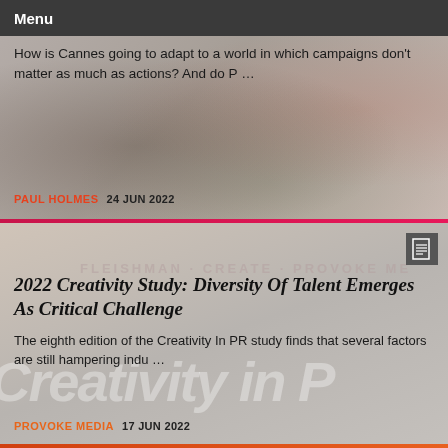Menu
How is Cannes going to adapt to a world in which campaigns don't matter as much as actions? And do P …
PAUL HOLMES  24 JUN 2022
2022 Creativity Study: Diversity Of Talent Emerges As Critical Challenge
The eighth edition of the Creativity In PR study finds that several factors are still hampering indu …
PROVOKE MEDIA  17 JUN 2022